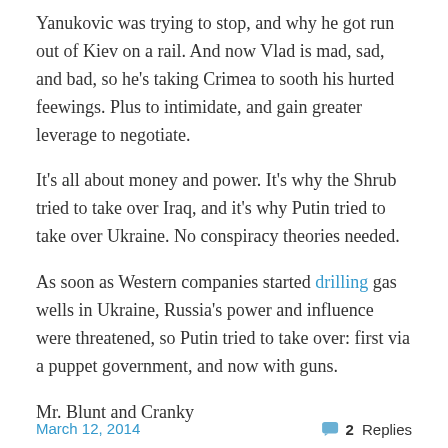Yanukovic was trying to stop, and why he got run out of Kiev on a rail. And now Vlad is mad, sad, and bad, so he’s taking Crimea to sooth his hurted feewings. Plus to intimidate, and gain greater leverage to negotiate.
It’s all about money and power. It's why the Shrub tried to take over Iraq, and it’s why Putin tried to take over Ukraine. No conspiracy theories needed.
As soon as Western companies started drilling gas wells in Ukraine, Russia’s power and influence were threatened, so Putin tried to take over: first via a puppet government, and now with guns.
Mr. Blunt and Cranky
March 12, 2014    2 Replies